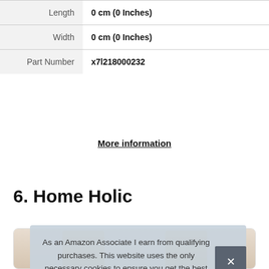|  |  |
| --- | --- |
| Length | 0 cm (0 Inches) |
| Width | 0 cm (0 Inches) |
| Part Number | x7l218000232 |
More information
6. Home Holic
[Figure (photo): Product card showing wooden furniture items, partially visible, with a cookie consent banner overlay]
As an Amazon Associate I earn from qualifying purchases. This website uses the only necessary cookies to ensure you get the best experience on our website. More information